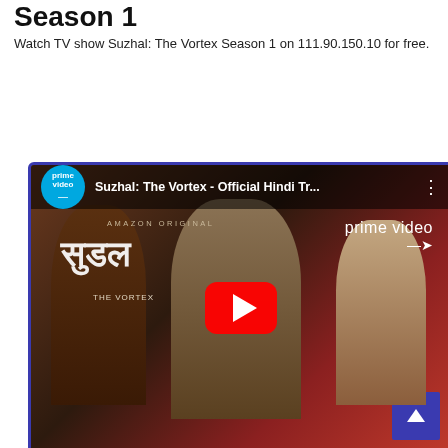Season 1
Watch TV show Suzhal: The Vortex Season 1 on 111.90.150.10 for free.
[Figure (screenshot): YouTube-style video thumbnail for 'Suzhal: The Vortex - Official Hindi Tr...' with Prime Video branding. Shows three actors, a large red YouTube play button in the center, 'AMAZON ORIGINAL' text, Hindi script title, and 'OFFICIAL HINDI TRAILER' text at bottom. Below the thumbnail is an icon bar with a light bulb icon and chat bubble icon on a dark blue background.]